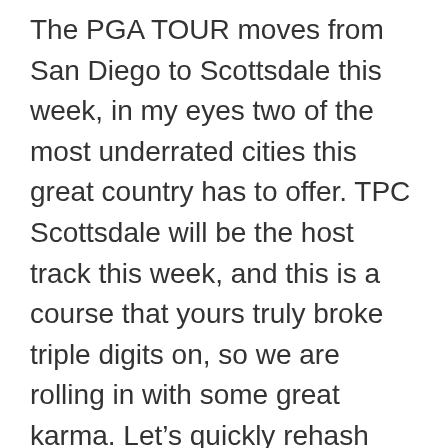The PGA TOUR moves from San Diego to Scottsdale this week, in my eyes two of the most underrated cities this great country has to offer. TPC Scottsdale will be the host track this week, and this is a course that yours truly broke triple digits on, so we are rolling in with some great karma. Let’s quickly rehash what turned out to be a pretty exciting Farmers at Torrey Pines before we get into “The Greenest Show on Earth.”
Farmers Insurance Open Power Ranking Grade: A-